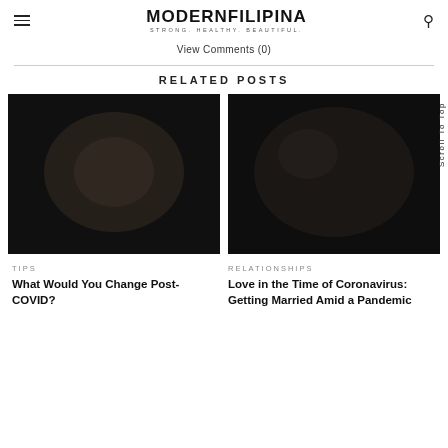MODERNFILIPINA
STRONG. HEALTHY. BEAUTIFUL.
View Comments (0)
RELATED POSTS
[Figure (photo): Dark blurred photo for related post about COVID]
TIPS
What Would You Change Post-COVID?
[Figure (photo): Dark blurred photo for related post about Coronavirus wedding]
RELATIONSHIPS
Love in the Time of Coronavirus: Getting Married Amid a Pandemic